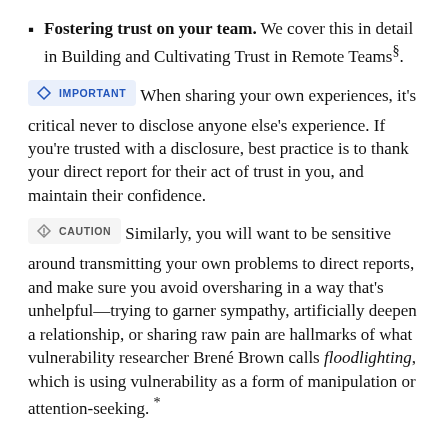Fostering trust on your team. We cover this in detail in Building and Cultivating Trust in Remote Teams§.
IMPORTANT — When sharing your own experiences, it's critical never to disclose anyone else's experience. If you're trusted with a disclosure, best practice is to thank your direct report for their act of trust in you, and maintain their confidence.
CAUTION — Similarly, you will want to be sensitive around transmitting your own problems to direct reports, and make sure you avoid oversharing in a way that's unhelpful—trying to garner sympathy, artificially deepen a relationship, or sharing raw pain are hallmarks of what vulnerability researcher Brené Brown calls floodlighting, which is using vulnerability as a form of manipulation or attention-seeking. *